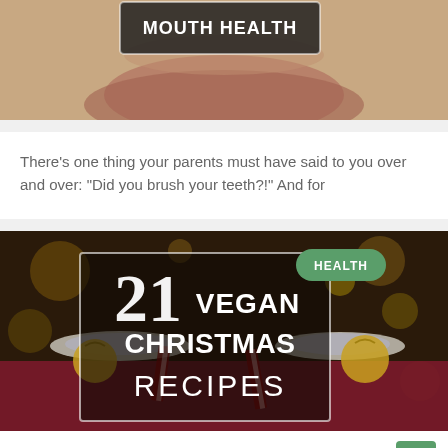[Figure (photo): Close-up photo of a person's lips/mouth with a dark overlay box containing text 'MOUTH HEALTH' (partially visible at top of page)]
There's one thing your parents must have said to you over and over: "Did you brush your teeth?!" And for
[Figure (photo): Christmas table setting with plates, gold ornaments, candles, and bokeh lights in background. Overlay box with large white text reading '21 VEGAN CHRISTMAS RECIPES'. Green 'HEALTH' badge in top right corner.]
I have been looking for the perfect vegan Christmas recipes for you and tah dam! Here they are. After last